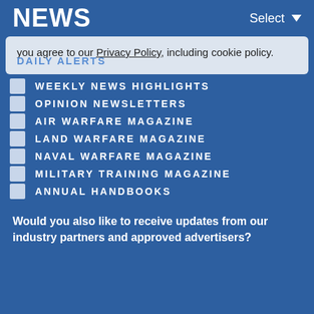NEWS  Select
you agree to our Privacy Policy, including cookie policy.  DAILY ALERTS
WEEKLY NEWS HIGHLIGHTS
OPINION NEWSLETTERS
AIR WARFARE MAGAZINE
LAND WARFARE MAGAZINE
NAVAL WARFARE MAGAZINE
MILITARY TRAINING MAGAZINE
ANNUAL HANDBOOKS
Would you also like to receive updates from our industry partners and approved advertisers?